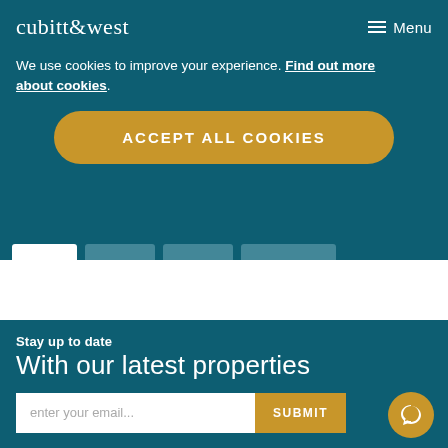cubitt & west  Menu
We use cookies to improve your experience. Find out more about cookies.
ACCEPT ALL COOKIES
Stay up to date
With our latest properties
enter your email...  SUBMIT